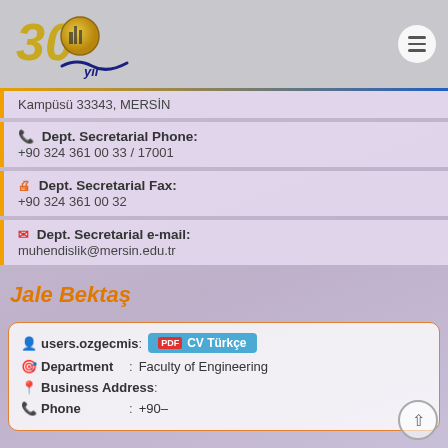[Figure (logo): 30th year anniversary logo of Mersin University with golden '30' text and circular emblem, 'yıl' text in blue italic]
Kampüsü 33343, MERSİN
Dept. Secretarial Phone:
+90 324 361 00 33 / 17001
Dept. Secretarial Fax:
+90 324 361 00 32
Dept. Secretarial e-mail:
muhendislik@mersin.edu.tr
Jale Bektaş
users.ozgecmis : CV Türkçe
Department : Faculty of Engineering
Business Address :
Phone : +90–